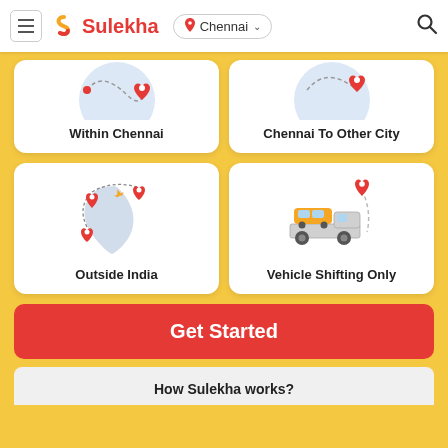Sulekha — Chennai
[Figure (illustration): Card showing 'Within Chennai' with a map pin and dashed route illustration]
Within Chennai
[Figure (illustration): Card showing 'Chennai To Other City' with a map pin and dashed route illustration]
Chennai To Other City
[Figure (illustration): Card showing 'Outside India' with India map, airplane and location pins]
Outside India
[Figure (illustration): Card showing 'Vehicle Shifting Only' with a car on a tow truck and dashed route]
Vehicle Shifting Only
Get Started
How Sulekha works?